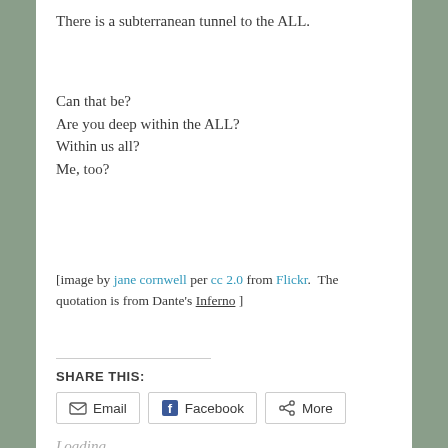There is a subterranean tunnel to the ALL.
Can that be?
Are you deep within the ALL?
Within us all?
Me, too?
[image by jane cornwell per cc 2.0 from Flickr.  The quotation is from Dante's Inferno ]
SHARE THIS:
Email  Facebook  More
Loading...